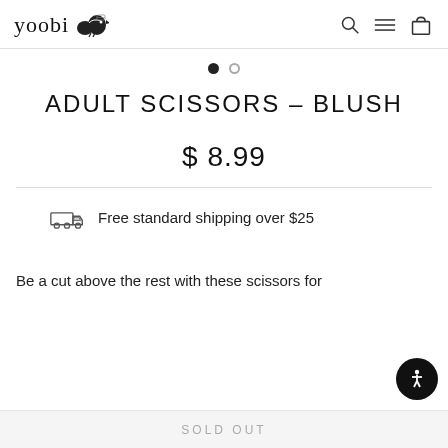yoobi [logo with bird icon] — search, menu, cart icons
[Figure (other): Carousel pagination dots: one filled black dot and one empty grey dot]
ADULT SCISSORS – BLUSH
$ 8.99
[Figure (other): Truck/shipping icon followed by text: Free standard shipping over $25]
Free standard shipping over $25
Be a cut above the rest with these scissors for
SOLD OUT